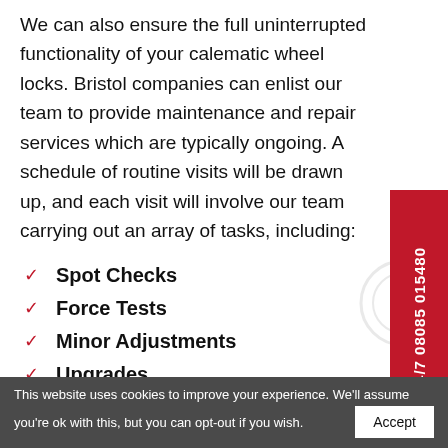We can also ensure the full uninterrupted functionality of your calematic wheel locks. Bristol companies can enlist our team to provide maintenance and repair services which are typically ongoing. A schedule of routine visits will be drawn up, and each visit will involve our team carrying out an array of tasks, including:
Spot Checks
Force Tests
Minor Adjustments
Upgrades
Repairs
And More!
Read More
24/7 08085 015480
This website uses cookies to improve your experience. We'll assume you're ok with this, but you can opt-out if you wish.  Accept